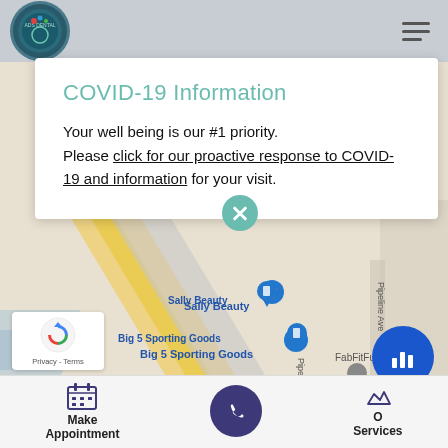[Figure (screenshot): Dental office website screenshot showing a COVID-19 information modal popup overlaid on a Google Maps background. Navigation bar at top with logo and hamburger menu. Bottom bar with Make Appointment, phone, and Our Services options.]
COVID-19 Information
Your well being is our #1 priority. Please click for our proactive response to COVID-19 and information for your visit.